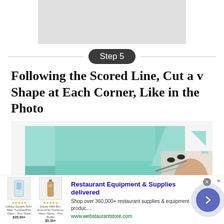[Figure (photo): Gray placeholder rectangle at top of page (partially visible from previous content)]
Step 5
Following the Scored Line, Cut a v Shape at Each Corner, Like in the Photo
[Figure (photo): Photo of hands using scissors to cut a v-shape at the corner of a teal/mint green paper sheet laid on a white surface]
[Figure (other): Advertisement banner for Restaurant Equipment & Supplies from webstaurantstore.com with product images, star ratings, prices, and a blue arrow button]